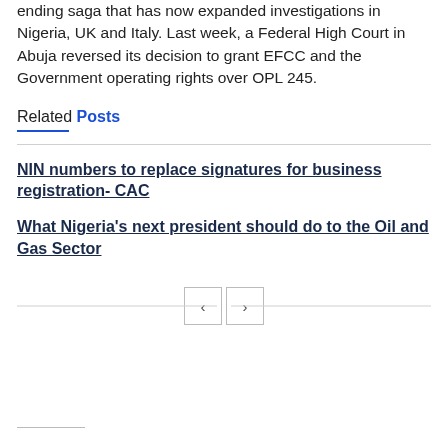ending saga that has now expanded investigations in Nigeria, UK and Italy. Last week, a Federal High Court in Abuja reversed its decision to grant EFCC and the Government operating rights over OPL 245.
Related Posts
NIN numbers to replace signatures for business registration- CAC
What Nigeria's next president should do to the Oil and Gas Sector